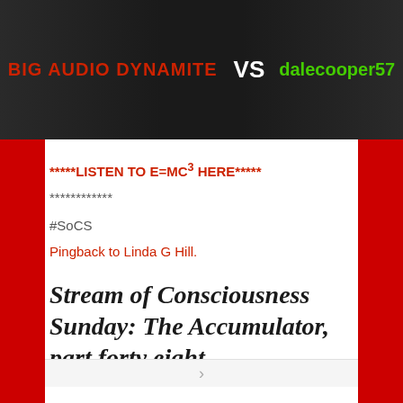[Figure (photo): Banner image showing Big Audio Dynamite VS dalecooper57 with dark background, red text for 'BIG AUDIO DYNAMITE', white 'VS', and green text for 'dalecooper57']
*****LISTEN TO E=MC³ HERE*****
************
#SoCS
Pingback to Linda G Hill.
Stream of Consciousness Sunday: The Accumulator, part forty eight.